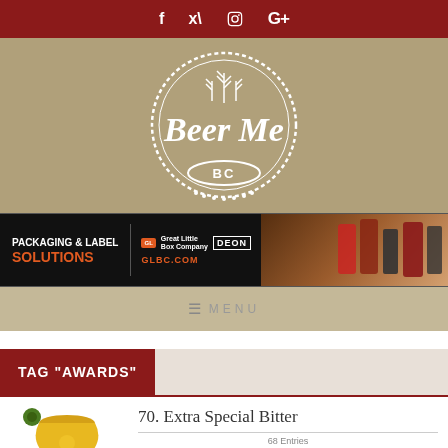f  ✦  G+  (social icons: Facebook, Twitter, Instagram, Google+)
[Figure (logo): Beer Me BC logo — white script text 'Beer Me' with 'BC' below, wheat/barrel circular emblem on tan/khaki background]
[Figure (infographic): Ad banner: PACKAGING & LABEL SOLUTIONS — Great Little Box Company / DEON — GLBC.COM — with product photos on right]
≡ MENU
TAG "AWARDS"
[Figure (logo): World Beer Cup gold trophy logo with hop leaf]
70. Extra Special Bitter
68 Entries
[Figure (logo): World Beer Cup silver trophy icon (smaller)]
End of Summer Beer
Mother Earth Brew Co.